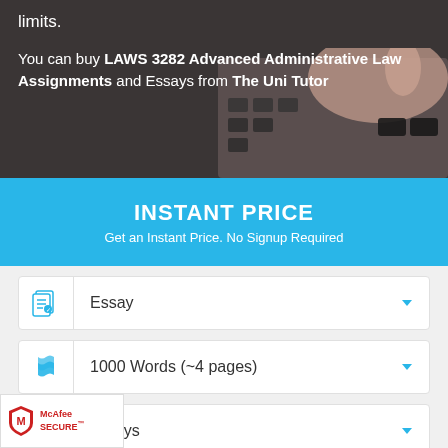limits.
You can buy LAWS 3282 Advanced Administrative Law Assignments and Essays from The Uni Tutor
INSTANT PRICE
Get an Instant Price. No Signup Required
Essay
1000 Words (~4 pages)
7 Days